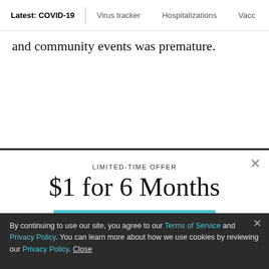Latest: COVID-19 | Virus tracker | Hospitalizations | Vacci
and community events was premature.
LIMITED-TIME OFFER
$1 for 6 Months
SUBSCRIBE NOW
By continuing to use our site, you agree to our Terms of Service and Privacy Policy. You can learn more about how we use cookies by reviewing our Privacy Policy. Close